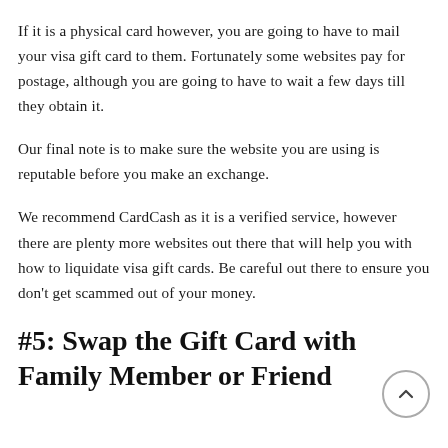If it is a physical card however, you are going to have to mail your visa gift card to them. Fortunately some websites pay for postage, although you are going to have to wait a few days till they obtain it.
Our final note is to make sure the website you are using is reputable before you make an exchange.
We recommend CardCash as it is a verified service, however there are plenty more websites out there that will help you with how to liquidate visa gift cards. Be careful out there to ensure you don't get scammed out of your money.
#5: Swap the Gift Card with Family Member or Friend